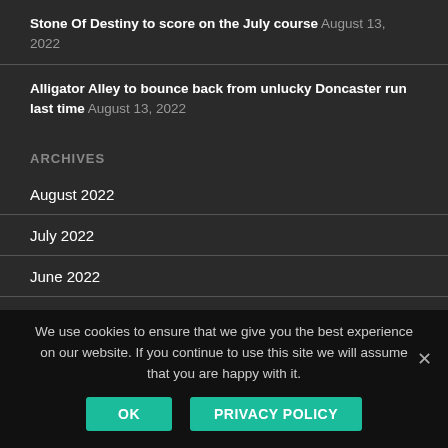Stone Of Destiny to score on the July course August 13, 2022
Alligator Alley to bounce back from unlucky Doncaster run last time August 13, 2022
ARCHIVES
August 2022
July 2022
June 2022
May 2022
We use cookies to ensure that we give you the best experience on our website. If you continue to use this site we will assume that you are happy with it.